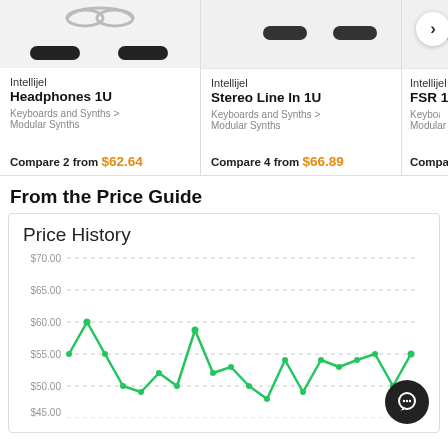[Figure (other): Product card for Intellijel Headphones 1U showing device image, category breadcrumb, and compare price from $62.64]
[Figure (other): Product card for Intellijel Stereo Line In 1U showing device image, category breadcrumb, and compare price from $66.89]
[Figure (other): Partial product card for Intellijel FSR 1U with navigation arrow button]
From the Price Guide
[Figure (line-chart): Price history line chart showing price fluctuations roughly between $45 and $70, with y-axis labels $45.00 through $70.00]